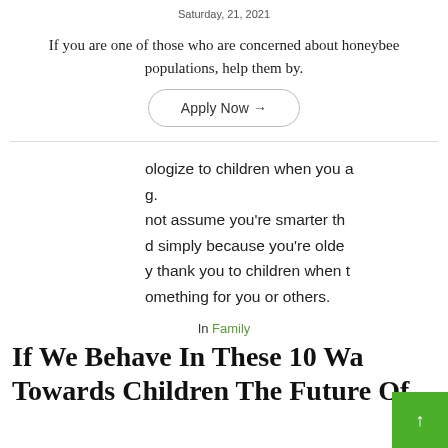Saturday, 21, 2021
If you are one of those who are concerned about honeybee populations, help them by.
Apply Now →
ologize to children when you are wrong.
not assume you're smarter than a child simply because you're older.
y thank you to children when they do something for you or others.
In Family
If We Behave In These 10 Ways Towards Children The Future Of